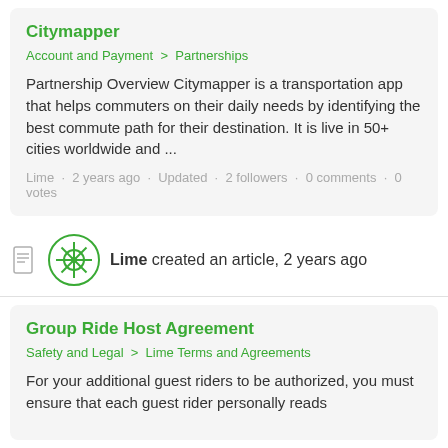Citymapper
Account and Payment  >  Partnerships
Partnership Overview Citymapper is a transportation app that helps commuters on their daily needs by identifying the best commute path for their destination. It is live in 50+ cities worldwide and ...
Lime · 2 years ago · Updated · 2 followers · 0 comments · 0 votes
Lime created an article, 2 years ago
Group Ride Host Agreement
Safety and Legal  >  Lime Terms and Agreements
For your additional guest riders to be authorized, you must ensure that each guest rider personally reads